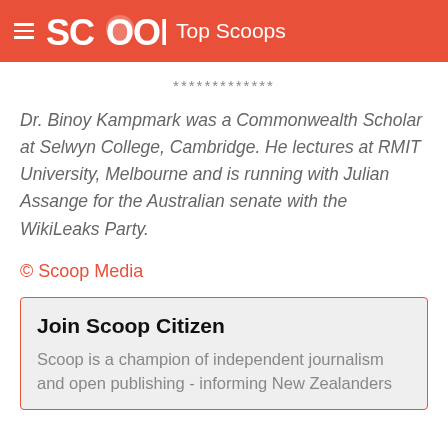SCOOP  Top Scoops
*************
Dr. Binoy Kampmark was a Commonwealth Scholar at Selwyn College, Cambridge. He lectures at RMIT University, Melbourne and is running with Julian Assange for the Australian senate with the WikiLeaks Party.
© Scoop Media
Join Scoop Citizen
Scoop is a champion of independent journalism and open publishing - informing New Zealanders